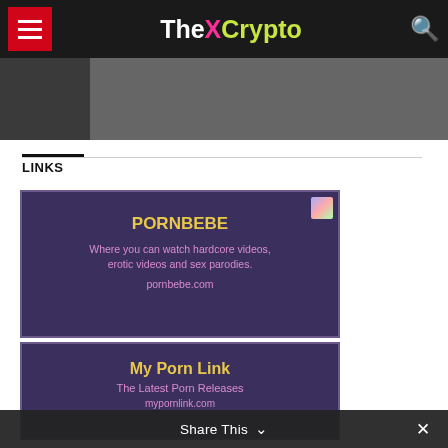TheXCrypto
[Figure (screenshot): Thumbnail image below header navigation]
LINKS
[Figure (screenshot): Ad card: PORNBEBE - Where you can watch hardcore videos, erotic videos and sex parodies. pornbebe.com]
[Figure (screenshot): Ad card: My Porn Link - The Latest Porn Releases. mypornlink.com]
Share This ✓  ✕